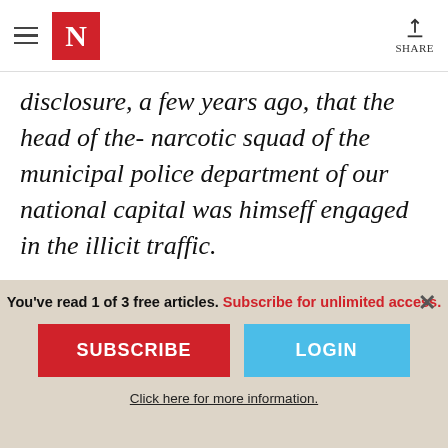N  SHARE
disclosure, a few years ago, that the head of the- narcotic squad of the municipal police department of our national capital was himseff engaged in the illicit traffic.
It is possible to argue that the injustices and moral confusion which prevail in the handling of drug addiction arise primarily from
You've read 1 of 3 free articles. Subscribe for unlimited access.
SUBSCRIBE
LOGIN
Click here for more information.